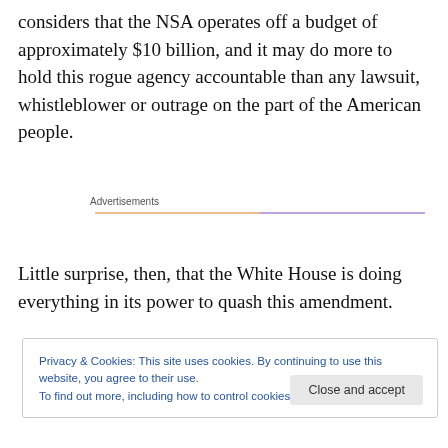considers that the NSA operates off a budget of approximately $10 billion, and it may do more to hold this rogue agency accountable than any lawsuit, whistleblower or outrage on the part of the American people.
Advertisements
Little surprise, then, that the White House is doing everything in its power to quash this amendment.
Privacy & Cookies: This site uses cookies. By continuing to use this website, you agree to their use.
To find out more, including how to control cookies, see here: Cookie Policy